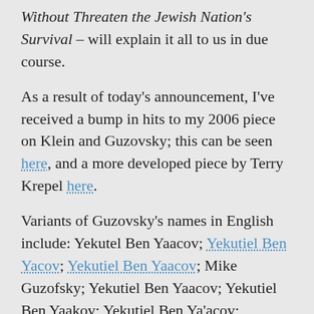Without Threaten the Jewish Nation's Survival – will explain it all to us in due course.
As a result of today's announcement, I've received a bump in hits to my 2006 piece on Klein and Guzovsky; this can be seen here, and a more developed piece by Terry Krepel here.
Variants of Guzovsky's names in English include: Yekutel Ben Yaacov; Yekutiel Ben Yacov; Yekutiel Ben Yaacov; Mike Guzofsky; Yekutiel Ben Yaacov; Yekutiel Ben Yaakov; Yekutiel Ben Ya'acov; Yekutiel Ben Ya'akov; Yekutiel Ben Yakov; Yekutiel Ben Yacov; Yekutiel Guzofsky; Yekutiel Guzovsky; Mike Guzofsky; Mike Guzovsky; Michael Guzofsky. One website calls him "Mike Rosowski"; this is an error. A New Yorker article also clarifies that Ya'akov is Guzofsky.